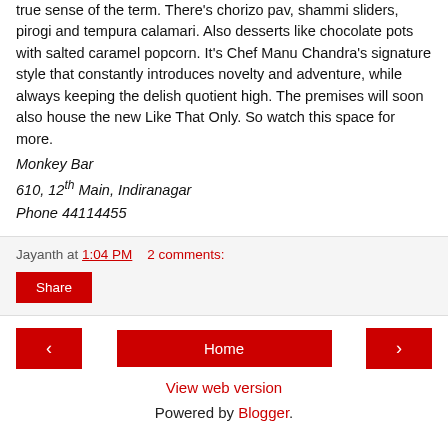true sense of the term. There's chorizo pav, shammi sliders, pirogi and tempura calamari. Also desserts like chocolate pots with salted caramel popcorn. It's Chef Manu Chandra's signature style that constantly introduces novelty and adventure, while always keeping the delish quotient high. The premises will soon also house the new Like That Only. So watch this space for more.
Monkey Bar
610, 12th Main, Indiranagar
Phone 44114455
Jayanth at 1:04 PM   2 comments:
Share
Home
View web version
Powered by Blogger.